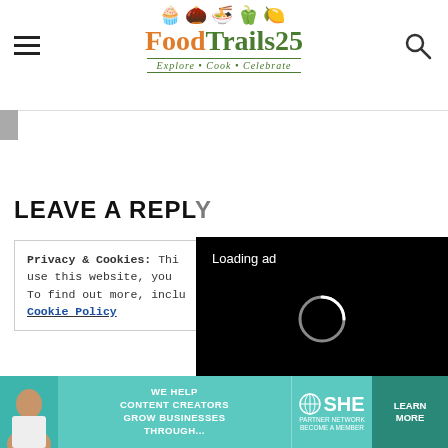[Figure (logo): FoodTrails25 logo with food icons, green text, and tagline Explore · Cook · Celebrate]
LEAVE A REPLY
Privacy & Cookies: This site uses cookies. By continuing to use this website, you agree to their use. To find out more, including how to control cookies, see here: Cookie Policy
[Figure (screenshot): Video ad overlay showing Loading ad text with spinner and playback controls on black background]
[Figure (infographic): SHE Partner Network advertisement banner: WE HELP CONTENT CREATORS GROW BUSINESSES THROUGH... with LEARN MORE button]